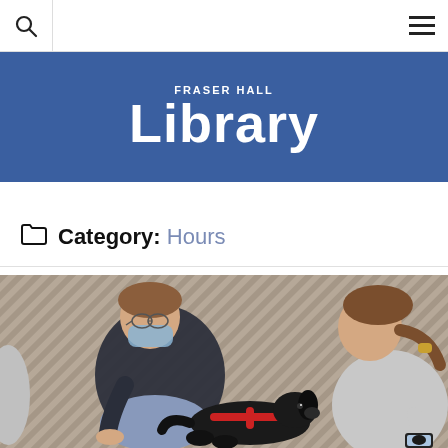Navigation bar with search and menu icons
Fraser Hall Library
Category: Hours
[Figure (photo): Two students sitting on a carpeted floor petting a black dog with a red harness. One student wears a face mask and a dark sweatshirt. The other student has a ponytail and holds a phone showing a photo of the dog.]